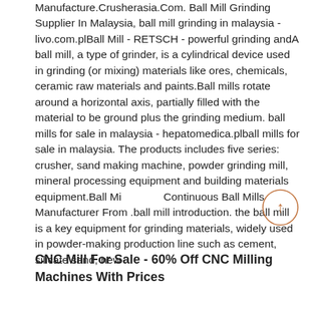Manufacture.Crusherasia.Com. Ball Mill Grinding Supplier In Malaysia, ball mill grinding in malaysia - livo.com.plBall Mill - RETSCH - powerful grinding andA ball mill, a type of grinder, is a cylindrical device used in grinding (or mixing) materials like ores, chemicals, ceramic raw materials and paints.Ball mills rotate around a horizontal axis, partially filled with the material to be ground plus the grinding medium. ball mills for sale in malaysia - hepatomedica.plball mills for sale in malaysia. The products includes five series: crusher, sand making machine, powder grinding mill, mineral processing equipment and building materials equipment.Ball Mill Continuous Ball Mills Manufacturer From .ball mill introduction. the ball mill is a key equipment for grinding materials, widely used in powder-making production line such as cement, silicate sand, new
[Figure (other): A circular scroll-to-top button with an upward arrow, orange/terracotta colored, overlaid on the text area near the right side.]
CNC Mill For Sale - 60% Off CNC Milling Machines With Prices